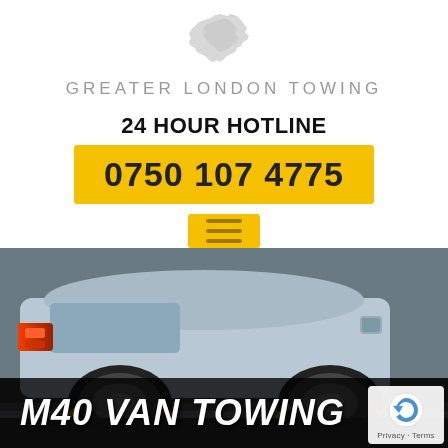[Figure (logo): Greater London Towing logo with grey London map silhouette and text GREATER LONDON TOWING]
24 HOUR HOTLINE
0750 107 4775
[Figure (illustration): Yellow hamburger menu button with three horizontal lines]
[Figure (photo): A light blue/grey car being towed on a flatbed, rear view showing tail lights and tire]
M40 VAN TOWING